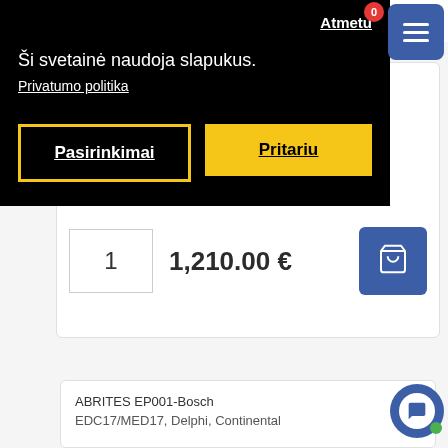[Figure (screenshot): Cookie consent overlay on a Lithuanian e-commerce website showing privacy notice and buttons]
Atmetu
Ši svetainė naudoja slapukus.
Privatumo politika
Pasirinkimai
Pritariu
1
1,210.00 €
ABRITES EP001-Bosch EDC17/MED17, Delphi, Continental